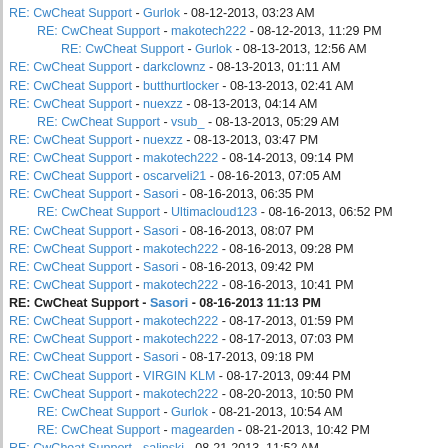RE: CwCheat Support - Gurlok - 08-12-2013, 03:23 AM
RE: CwCheat Support - makotech222 - 08-12-2013, 11:29 PM
RE: CwCheat Support - Gurlok - 08-13-2013, 12:56 AM
RE: CwCheat Support - darkclownz - 08-13-2013, 01:11 AM
RE: CwCheat Support - butthurtlocker - 08-13-2013, 02:41 AM
RE: CwCheat Support - nuexzz - 08-13-2013, 04:14 AM
RE: CwCheat Support - vsub_ - 08-13-2013, 05:29 AM
RE: CwCheat Support - nuexzz - 08-13-2013, 03:47 PM
RE: CwCheat Support - makotech222 - 08-14-2013, 09:14 PM
RE: CwCheat Support - oscarveli21 - 08-16-2013, 07:05 AM
RE: CwCheat Support - Sasori - 08-16-2013, 06:35 PM
RE: CwCheat Support - Ultimacloud123 - 08-16-2013, 06:52 PM
RE: CwCheat Support - Sasori - 08-16-2013, 08:07 PM
RE: CwCheat Support - makotech222 - 08-16-2013, 09:28 PM
RE: CwCheat Support - Sasori - 08-16-2013, 09:42 PM
RE: CwCheat Support - makotech222 - 08-16-2013, 10:41 PM
RE: CwCheat Support - Sasori - 08-16-2013 11:13 PM
RE: CwCheat Support - makotech222 - 08-17-2013, 01:59 PM
RE: CwCheat Support - makotech222 - 08-17-2013, 07:03 PM
RE: CwCheat Support - Sasori - 08-17-2013, 09:18 PM
RE: CwCheat Support - VIRGIN KLM - 08-17-2013, 09:44 PM
RE: CwCheat Support - makotech222 - 08-20-2013, 10:50 PM
RE: CwCheat Support - Gurlok - 08-21-2013, 10:54 AM
RE: CwCheat Support - magearden - 08-21-2013, 10:42 PM
RE: CwCheat Support - salinski - 08-21-2013, 11:52 AM